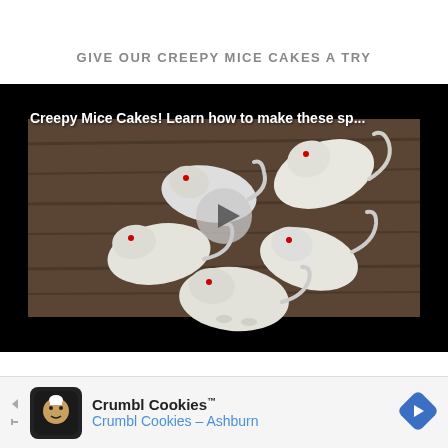GIVE OUR CREEPY MICE CAKES A TRY
[Figure (screenshot): Video thumbnail showing white mouse-shaped cakes arranged on a wooden surface, with a play button overlay and text 'Creepy Mice Cakes! Learn how to make these sp...']
[Figure (infographic): Advertisement banner for Crumbl Cookies - Ashburn with logo, brand name, and navigation arrow]